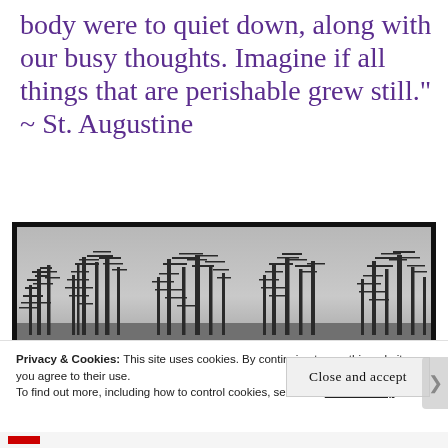body were to quiet down, along with our busy thoughts. Imagine if all things that are perishable grew still." ~ St. Augustine
[Figure (photo): Black and white photograph of bare winter trees silhouetted against a grey sky, shown in a black-bordered frame.]
Privacy & Cookies: This site uses cookies. By continuing to use this website, you agree to their use.
To find out more, including how to control cookies, see here: Cookie Policy
Close and accept